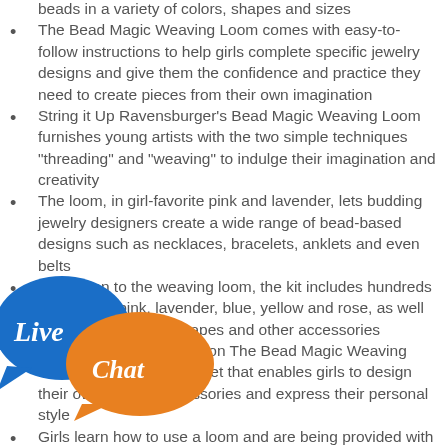beads in a variety of colors, shapes and sizes
The Bead Magic Weaving Loom comes with easy-to-follow instructions to help girls complete specific jewelry designs and give them the confidence and practice they need to create pieces from their own imagination
String it Up Ravensburger's Bead Magic Weaving Loom furnishes young artists with the two simple techniques "threading" and "weaving" to indulge their imagination and creativity
The loom, in girl-favorite pink and lavender, lets budding jewelry designers create a wide range of bead-based designs such as necklaces, bracelets, anklets and even belts
In addition to the weaving loom, the kit includes hundreds of beads in pink, lavender, blue, yellow and rose, as well as heart and flower shapes and other accessories
Express Your Artistic Vision The Bead Magic Weaving Loom is a creative craft set that enables girls to design their own fashion accessories and express their personal style
Girls learn how to use a loom and are being provided with skills to tackle other challenging artistic projects, too
kit's loom and bead assortment presents a creative nt for girls that allows them to create virtually ey can dream up while helping them practice fine motor and sequencing skills
The artistic projects also promote independent thinking, self-